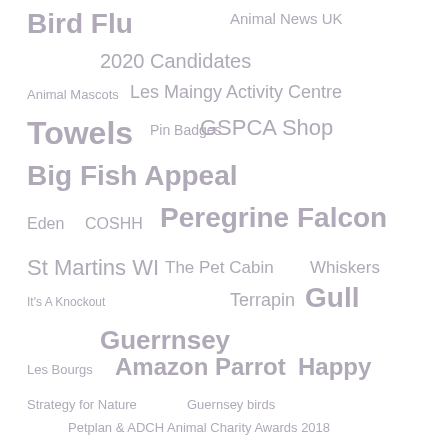[Figure (infographic): Tag cloud / word cloud with various animal and organization related terms displayed in different font sizes and shades of gray/purple, arranged in a scattered layout. Terms include Bird Flu, Animal News UK, 2020 Candidates, Animal Mascots, Les Maingy Activity Centre, Towels, Pin Badges, GSPCA Shop, Big Fish Appeal, Eden, COSHH, Peregrine Falcon, St Martins WI, The Pet Cabin, Whiskers, It's A Knockout, Terrapin, Gull, Guerrnsey, Les Bourgs, Amazon Parrot, Happy, Strategy for Nature, Guernsey birds, Petplan & ADCH Animal Charity Awards 2018, Dogs Die In Hot Cars, Waitrose, Fridge Magnets, Ceva Awards for Animal Welfare 2013, Amazon, Forest Primary School, Skin Cancer, Co-operative, Lesser Black Back Gull]